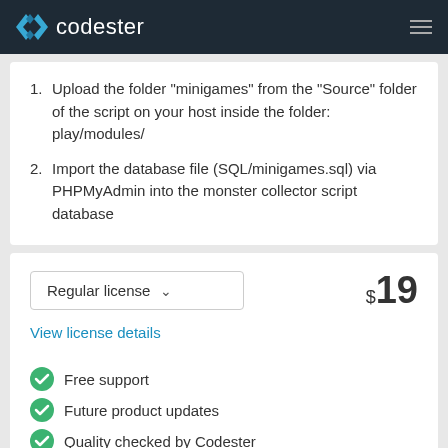codester
Upload the folder "minigames" from the "Source" folder of the script on your host inside the folder: play/modules/
Import the database file (SQL/minigames.sql) via PHPMyAdmin into the monster collector script database
Regular license   $19
View license details
Free support
Future product updates
Quality checked by Codester
Lowest price guarantee